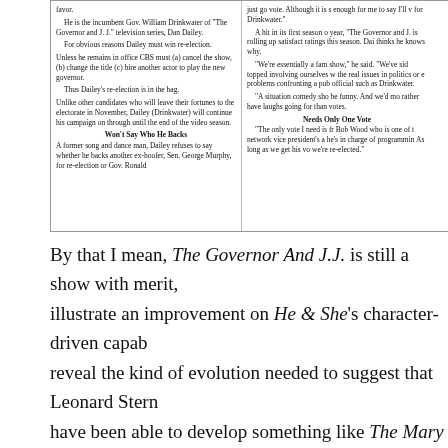[Figure (other): Newspaper clipping about The Governor and J.J. TV show, two-column layout discussing Dan Dailey's role and re-election plot, with subheadings 'Won't Say Who He Backs' and 'Needs Only One Vote']
By that I mean, The Governor And J.J. is still a show with merit, illustrate an improvement on He & She's character-driven capab reveal the kind of evolution needed to suggest that Leonard Stern have been able to develop something like The Mary Tyler Moore Burns took his knowledge of the low-concept sitcom's narrative on He & She) and married it to Jim Brooks' wild imagination and beautiful characterizations — all of which merged within a shar